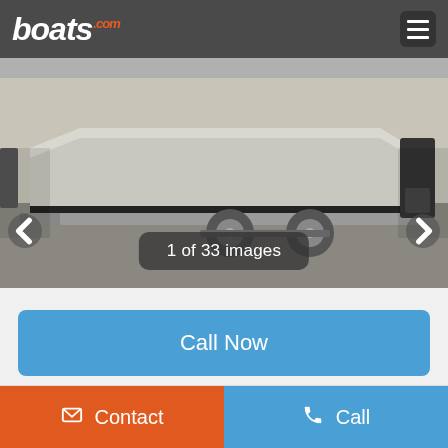boats.com
[Figure (photo): Aluminum boat on a trailer parked in a lot. The boat has a dark stripe along the hull and an outboard motor at the rear. A tan/gray building is visible in the background.]
1 of 33 images
Call Now
Send Email
Contact  Call